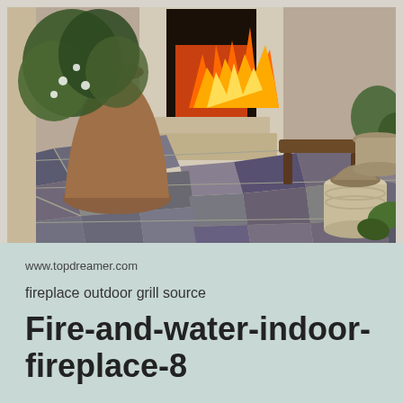[Figure (photo): Outdoor patio area with a lit stone fireplace, potted plants, stone tile flooring, wooden bench, and decorative side table with fruit bowl]
www.topdreamer.com
fireplace outdoor grill source
Fire-and-water-indoor-fireplace-8